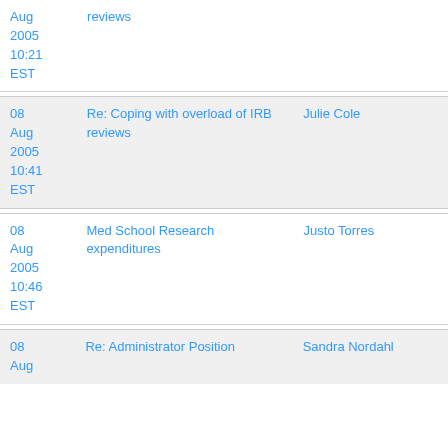| Date | Subject | From |
| --- | --- | --- |
| 08 Aug 2005 10:21 EST | reviews |  |
| 08 Aug 2005 10:41 EST | Re: Coping with overload of IRB reviews | Julie Cole |
| 08 Aug 2005 10:46 EST | Med School Research expenditures | Justo Torres |
| 08 Aug 2005 | Re: Administrator Position | Sandra Nordahl |